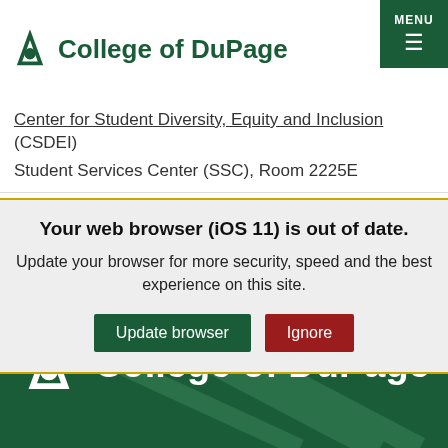College of DuPage
Center for Student Diversity, Equity and Inclusion (CSDEI)
Student Services Center (SSC), Room 2225E
Your web browser (iOS 11) is out of date. Update your browser for more security, speed and the best experience on this site.
College of DuPage